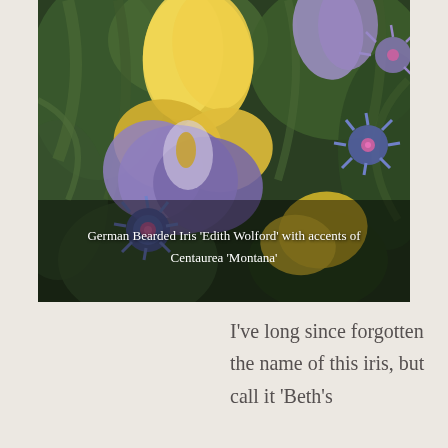[Figure (photo): Close-up photograph of German Bearded Iris 'Edith Wolford' flowers with yellow and purple/lavender petals, accompanied by blue-purple Centaurea 'Montana' flowers, set against green foliage background. White text caption overlaid at bottom of image.]
German Bearded Iris 'Edith Wolford' with accents of Centaurea 'Montana'
I've long since forgotten the name of this iris, but call it 'Beth's